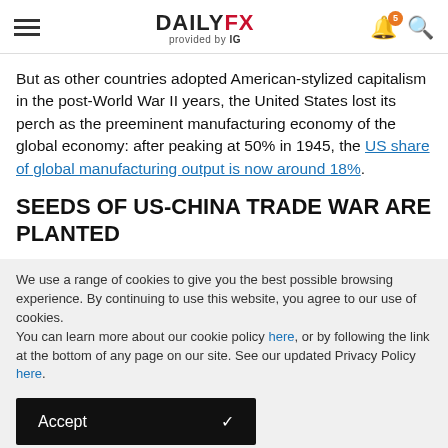DAILYFX provided by IG
But as other countries adopted American-stylized capitalism in the post-World War II years, the United States lost its perch as the preeminent manufacturing economy of the global economy: after peaking at 50% in 1945, the US share of global manufacturing output is now around 18%.
SEEDS OF US-CHINA TRADE WAR ARE PLANTED
We use a range of cookies to give you the best possible browsing experience. By continuing to use this website, you agree to our use of cookies.
You can learn more about our cookie policy here, or by following the link at the bottom of any page on our site. See our updated Privacy Policy here.
Accept